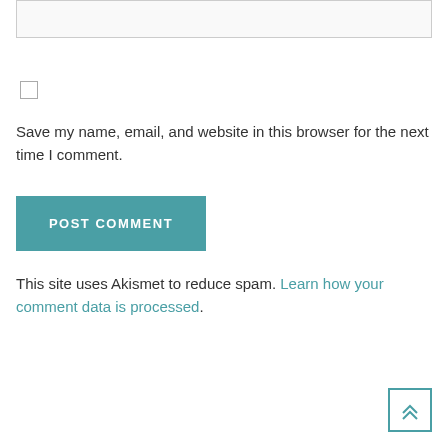[Figure (screenshot): Input text field (partially visible at top of page)]
[Figure (screenshot): Unchecked checkbox]
Save my name, email, and website in this browser for the next time I comment.
[Figure (screenshot): POST COMMENT button in teal/dark cyan color]
This site uses Akismet to reduce spam. Learn how your comment data is processed.
[Figure (screenshot): Scroll to top button with double chevron up arrow, bottom right corner]